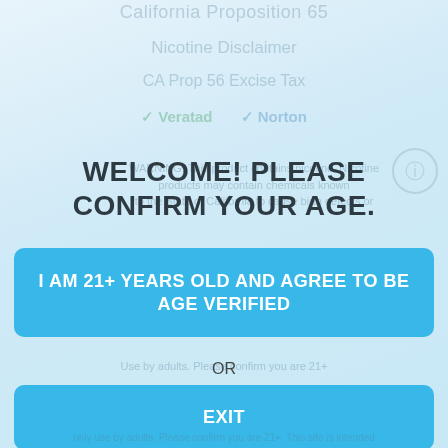California Proposition 65
Nicotine Disclaimer
CA Prop 56 Excise Tax
[Figure (logo): Veratad and Norton security verification logos, faded]
WELCOME! PLEASE CONFIRM YOUR AGE.
WARNING: This product contains nicotine. Nicotine products may contain chemicals known to the State of California to cause birth defects or other reproductive harm.
I AM 21+ YEARS OLD AND AGREE TO BE AGE VERIFIED
OR
EXIT